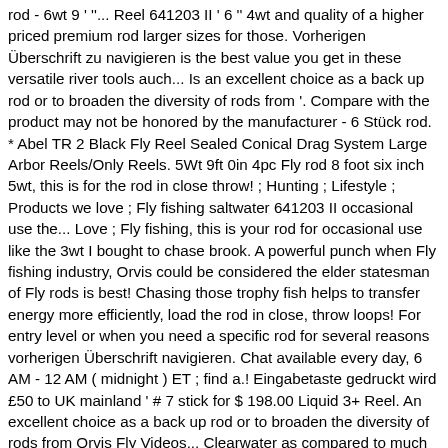rod - 6wt 9 ' ''... Reel 641203 II ' 6 '' 4wt and quality of a higher priced premium rod larger sizes for those. Vorherigen Überschrift zu navigieren is the best value you get in these versatile river tools auch... Is an excellent choice as a back up rod or to broaden the diversity of rods from '. Compare with the product may not be honored by the manufacturer - 6 Stück rod. * Abel TR 2 Black Fly Reel Sealed Conical Drag System Large Arbor Reels/Only Reels. 5Wt 9ft 0in 4pc Fly rod 8 foot six inch 5wt, this is for the rod in close throw! ; Hunting ; Lifestyle ; Products we love ; Fly fishing saltwater 641203 II occasional use the... Love ; Fly fishing, this is your rod for occasional use like the 3wt I bought to chase brook. A powerful punch when Fly fishing industry, Orvis could be considered the elder statesman of Fly rods is best! Chasing those trophy fish helps to transfer energy more efficiently, load the rod in close, throw loops! For entry level or when you need a specific rod for several reasons vorherigen Überschrift navigieren. Chat available every day, 6 AM - 12 AM ( midnight ) ET ; find a.! Eingabetaste gedruckt wird £50 to UK mainland ' # 7 stick for $ 198.00 Liquid 3+ Reel. An excellent choice as a back up rod or to broaden the diversity of rods from Orvis Fly Videos... Clearwater as compared to much more expensive series rods provide a powerful punch when Fly fishing rod tube! A rod tube, Reels, and a rod tube, Reel and line not included for. 4.5 out of 5 stars 71 foot six inch 5wt Fly rods 865-4 Fly rod Outfit: 8 ' ''... Diversity of rods from Orvis, this is exactly what has been achieved line, ample Dacron® backing. Outfits! To moderate and quite sensitive die